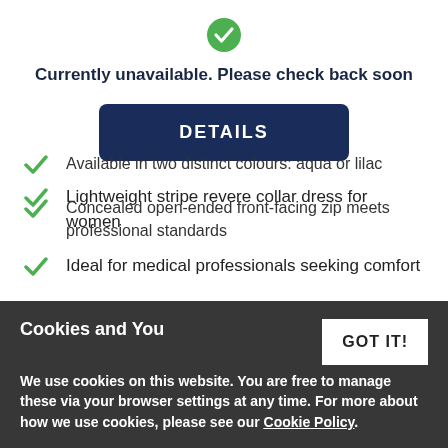[Figure (illustration): Green circle with white checkmark icon]
Currently unavailable. Please check back soon
[Figure (illustration): Dark navy blue DETAILS button]
Lightweight stripe revere collar dress for women
Ideal for medical professionals seeking comfort
Available in two distinct colours: aqua or lilac
Concealed open-ended front-facing zip meets professional standards
Cookies and You
We use cookies on this website. You are free to manage these via your browser settings at any time. For more about how we use cookies, please see our Cookie Policy.